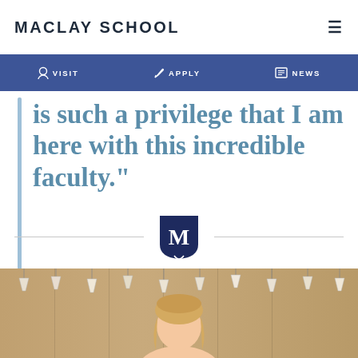MACLAY SCHOOL
VISIT   APPLY   NEWS
is such a privilege that I am here with this incredible faculty."
[Figure (logo): Maclay School shield/crest logo with letter M, navy blue, with horizontal divider lines on both sides]
[Figure (photo): Photo of a woman with blonde hair in a classroom setting with a cork board background and paper cups hanging, partially cropped at the bottom of the page]